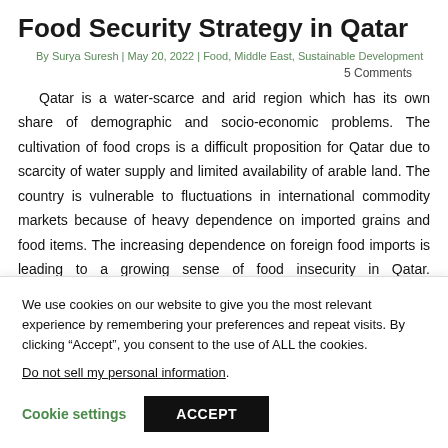Food Security Strategy in Qatar
By Surya Suresh | May 20, 2022 | Food, Middle East, Sustainable Development
5 Comments
Qatar is a water-scarce and arid region which has its own share of demographic and socio-economic problems. The cultivation of food crops is a difficult proposition for Qatar due to scarcity of water supply and limited availability of arable land. The country is vulnerable to fluctuations in international commodity markets because of heavy dependence on imported grains and food items. The increasing dependence on foreign food imports is leading to a growing sense of food insecurity in Qatar. Understanding Food Security...
We use cookies on our website to give you the most relevant experience by remembering your preferences and repeat visits. By clicking “Accept”, you consent to the use of ALL the cookies.
Do not sell my personal information.
Cookie settings   ACCEPT